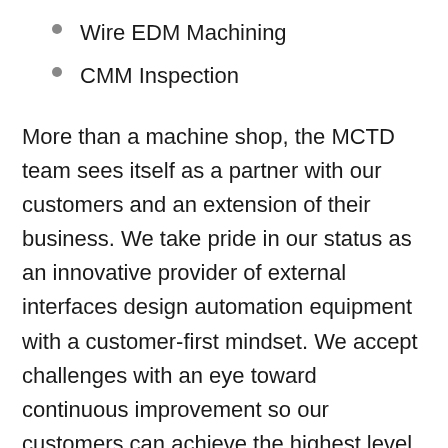Wire EDM Machining
CMM Inspection
More than a machine shop, the MCTD team sees itself as a partner with our customers and an extension of their business. We take pride in our status as an innovative provider of external interfaces design automation equipment with a customer-first mindset. We accept challenges with an eye toward continuous improvement so our customers can achieve the highest level of performance.
If our more than 35 years of design and build, workholding, and machining experience have taught us anything as an organization, it is the importance of communication. Our customers